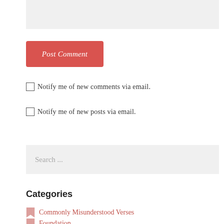[Figure (other): Gray textarea input box (top, partially visible)]
Post Comment
Notify me of new comments via email.
Notify me of new posts via email.
[Figure (other): Search input box with placeholder text 'Search ...']
Categories
Commonly Misunderstood Verses
Foundation